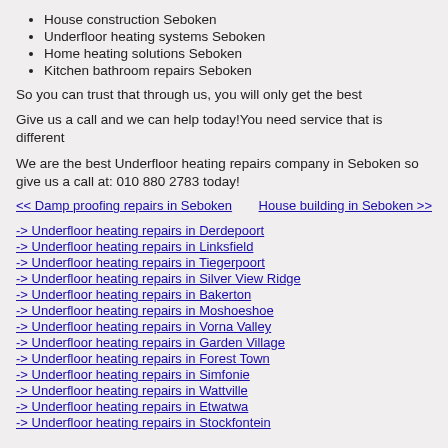House construction Seboken
Underfloor heating systems Seboken
Home heating solutions Seboken
Kitchen bathroom repairs Seboken
So you can trust that through us, you will only get the best
Give us a call and we can help today!You need service that is different
We are the best Underfloor heating repairs company in Seboken so give us a call at: 010 880 2783 today!
<< Damp proofing repairs in Seboken    House building in Seboken >>
-> Underfloor heating repairs in Derdepoort
-> Underfloor heating repairs in Linksfield
-> Underfloor heating repairs in Tiegerpoort
-> Underfloor heating repairs in Silver View Ridge
-> Underfloor heating repairs in Bakerton
-> Underfloor heating repairs in Moshoeshoe
-> Underfloor heating repairs in Vorna Valley
-> Underfloor heating repairs in Garden Village
-> Underfloor heating repairs in Forest Town
-> Underfloor heating repairs in Simfonie
-> Underfloor heating repairs in Wattville
-> Underfloor heating repairs in Etwatwa
-> Underfloor heating repairs in Stockfontein